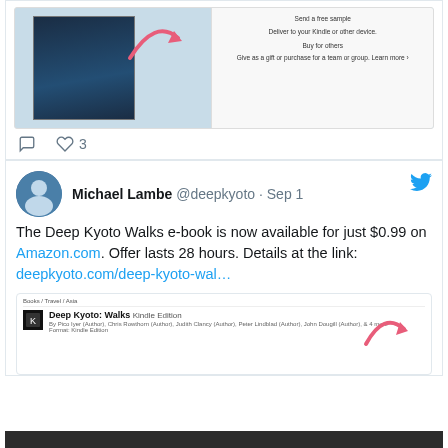[Figure (screenshot): Partial tweet card showing a book cover image with Amazon purchase options and a pink arrow annotation, with like/comment action icons showing 3 likes]
[Figure (screenshot): Tweet by Michael Lambe (@deepkyoto · Sep 1) with Twitter bird icon, text about Deep Kyoto Walks e-book available for $0.99 on Amazon.com with link deepkyoto.com/deep-kyoto-wal... and a preview image of the Amazon Kindle listing for Deep Kyoto: Walks]
JAPAN STATION